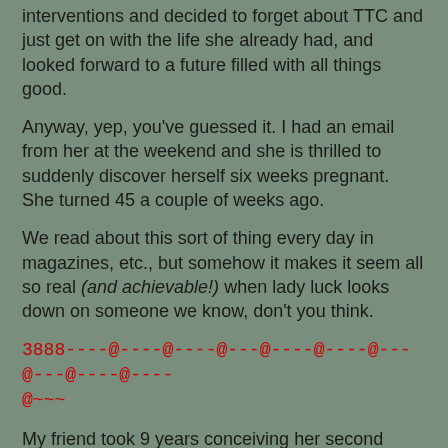interventions and decided to forget about TTC and just get on with the life she already had, and looked forward to a future filled with all things good.
Anyway, yep, you've guessed it. I had an email from her at the weekend and she is thrilled to suddenly discover herself six weeks pregnant. She turned 45 a couple of weeks ago.
We read about this sort of thing every day in magazines, etc., but somehow it makes it seem all so real (and achievable!) when lady luck looks down on someone we know, don't you think.
3888----@----@----@---@----@----@---@---@----@~~~
My friend took 9 years conceiving her second child. There were several miscarriages along the way. She had her little girl when she was 48! Naturally (apart from some progesterone supplements!). Just when they were going to give up, she decided *one more month* then we quit...